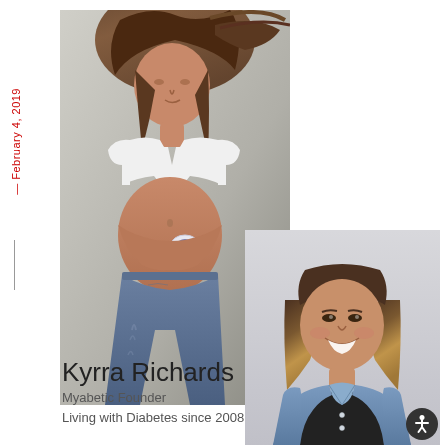— February 4, 2019
[Figure (photo): Pregnant woman wearing a white crop top and jeans, with a continuous glucose monitor patch visible on her belly, looking down]
[Figure (photo): Woman with long brown-blonde hair smiling, wearing a denim jacket over a black top, arms crossed]
Kyrra Richards
Myabetic Founder
Living with Diabetes since 2008